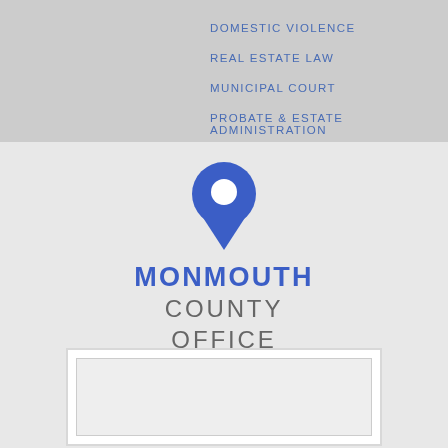DOMESTIC VIOLENCE
REAL ESTATE LAW
MUNICIPAL COURT
PROBATE & ESTATE ADMINISTRATION
[Figure (logo): Blue map pin / location marker icon above the text MONMOUTH COUNTY OFFICE]
MONMOUTH COUNTY OFFICE
[Figure (map): A map embed placeholder box, white border with light gray interior]